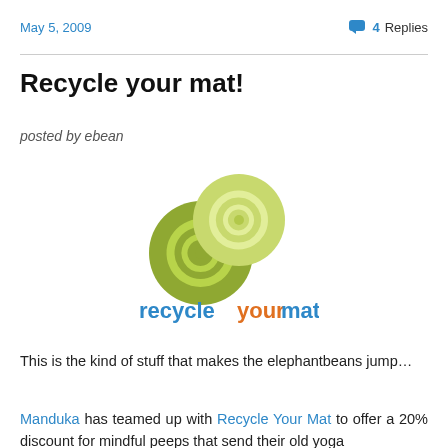May 5, 2009 | 4 Replies
Recycle your mat!
posted by ebean
[Figure (logo): recycleyourmat logo with two green spiral swirls and text 'recycleyourmat' in blue and orange]
This is the kind of stuff that makes the elephantbeans jump…
Manduka has teamed up with Recycle Your Mat to offer a 20% discount for mindful peeps that send their old yoga